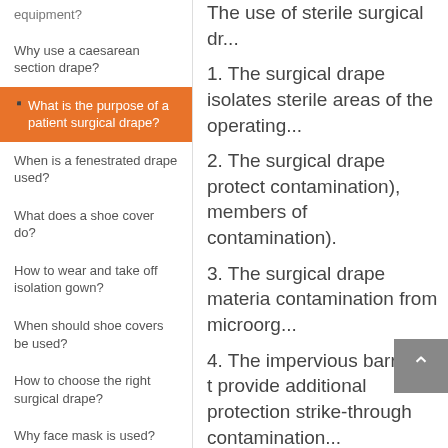equipment?
Why use a caesarean section drape?
What is the purpose of a patient surgical drape?
When is a fenestrated drape used?
What does a shoe cover do?
How to wear and take off isolation gown?
When should shoe covers be used?
How to choose the right surgical drape?
Why face mask is used?
What is surgical gown used for?
What does a surgical drape do?
The use of sterile surgical dr...
1. The surgical drape isolates sterile areas of the operating...
2. The surgical drape protect contamination), members of contamination).
3. The surgical drape materia contamination from microorg...
4. The impervious barrier of t provide additional protection strike-through contamination...
5. The lint-free surgical drape into the surgical wound.
6. The patient drape not only allowing the surgical staff to r creating a neutral zone pa...
The surgical drape forms a b microorganisms. Microbial m...